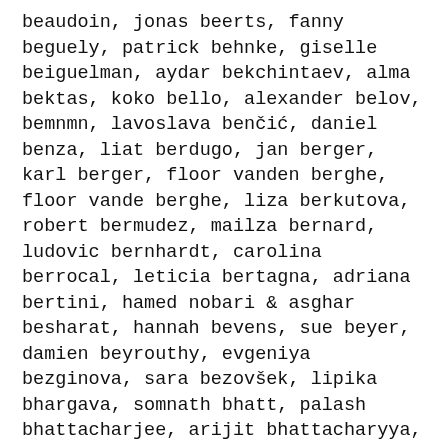beaudoin, jonas beerts, fanny beguely, patrick behnke, giselle beiguelman, aydar bekchintaev, alma bektas, koko bello, alexander belov, bemnmn, lavoslava benčić, daniel benza, liat berdugo, jan berger, karl berger, floor vanden berghe, floor vande berghe, liza berkutova, robert bermudez, mailza bernard, ludovic bernhardt, carolina berrocal, leticia bertagna, adriana bertini, hamed nobari & asghar besharat, hannah bevens, sue beyer, damien beyrouthy, evgeniya bezginova, sara bezovšek, lipika bhargava, somnath bhatt, palash bhattacharjee, arijit bhattacharyya, milton bhattacharyya, isabella bhoan, dn bianco, eric bico, los senderos que se bifurcan, sveta bilyk, célia n'noko a birang, la birdwatchers, meghana